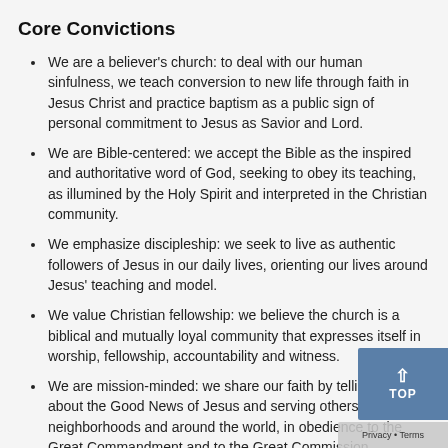Core Convictions
We are a believer's church: to deal with our human sinfulness, we teach conversion to new life through faith in Jesus Christ and practice baptism as a public sign of personal commitment to Jesus as Savior and Lord.
We are Bible-centered: we accept the Bible as the inspired and authoritative word of God, seeking to obey its teaching, as illumined by the Holy Spirit and interpreted in the Christian community.
We emphasize discipleship: we seek to live as authentic followers of Jesus in our daily lives, orienting our lives around Jesus' teaching and model.
We value Christian fellowship: we believe the church is a biblical and mutually loyal community that expresses itself in worship, fellowship, accountability and witness.
We are mission-minded: we share our faith by telling others about the Good News of Jesus and serving others in our neighborhoods and around the world, in obedience to the Great Commandment and to the Great Commission.
We seek peace: we believe the Bible invites us to be at peace